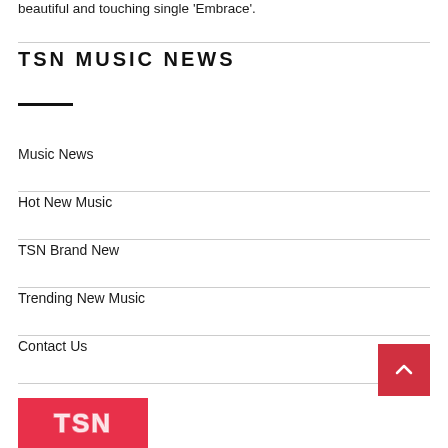beautiful and touching single 'Embrace'.
TSN MUSIC NEWS
Music News
Hot New Music
TSN Brand New
Trending New Music
Contact Us
[Figure (logo): TSN logo on red/pink background]